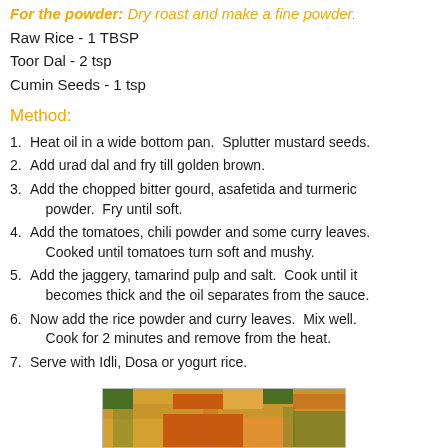For the powder: Dry roast and make a fine powder.
Raw Rice - 1 TBSP
Toor Dal - 2 tsp
Cumin Seeds - 1 tsp
Method:
1. Heat oil in a wide bottom pan.  Splutter mustard seeds.
2. Add urad dal and fry till golden brown.
3. Add the chopped bitter gourd, asafetida and turmeric powder.  Fry until soft.
4. Add the tomatoes, chili powder and some curry leaves.  Cooked until tomatoes turn soft and mushy.
5. Add the jaggery, tamarind pulp and salt.  Cook until it becomes thick and the oil separates from the sauce.
6. Now add the rice powder and curry leaves.  Mix well.  Cook for 2 minutes and remove from the heat.
7. Serve with Idli, Dosa or yogurt rice.
[Figure (photo): Photo of a dish, likely bitter gourd curry, served in a bowl with garnish]